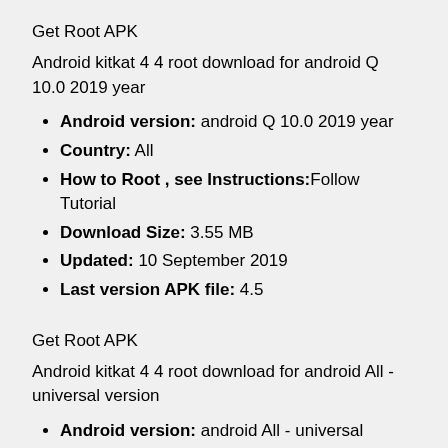Get Root APK
Android kitkat 4 4 root download for android Q 10.0 2019 year
Android version: android Q 10.0 2019 year
Country: All
How to Root , see Instructions: Follow Tutorial
Download Size: 3.55 MB
Updated: 10 September 2019
Last version APK file: 4.5
Get Root APK
Android kitkat 4 4 root download for android All - universal version
Android version: android All - universal version
Country: All
How to Root , see Instructions: Follow Tutorial